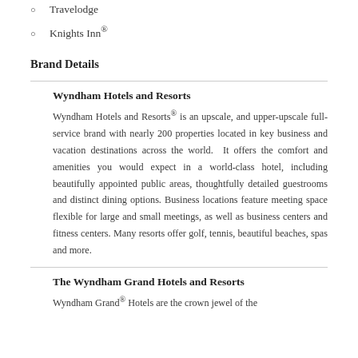Travelodge
Knights Inn®
Brand Details
Wyndham Hotels and Resorts
Wyndham Hotels and Resorts® is an upscale, and upper-upscale full-service brand with nearly 200 properties located in key business and vacation destinations across the world.  It offers the comfort and amenities you would expect in a world-class hotel, including beautifully appointed public areas, thoughtfully detailed guestrooms and distinct dining options. Business locations feature meeting space flexible for large and small meetings, as well as business centers and fitness centers. Many resorts offer golf, tennis, beautiful beaches, spas and more.
The Wyndham Grand Hotels and Resorts
Wyndham Grand® Hotels are the crown jewel of the